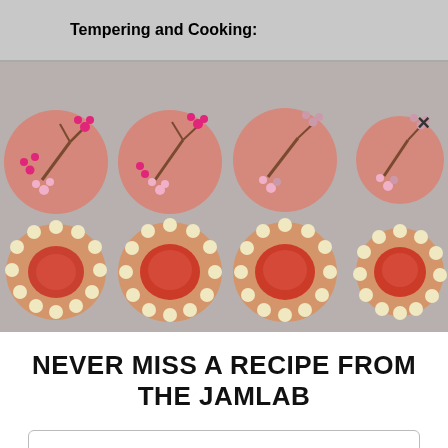Tempering and Cooking:
[Figure (photo): Eight decorated round cookies/macarons arranged in two rows. Top row: four pink macarons decorated with pink cherry blossom branch designs. Bottom row: four orange/tan cookies decorated with cream rosettes around the edge and jam centers.]
NEVER MISS A RECIPE FROM THE JAMLAB
First Name